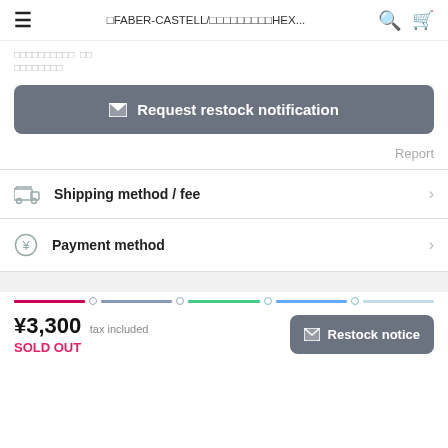≡ FABER-CASTELL/ファーバーカステルHEX...
ファーバーカステル　白　ファーバーカステル
✉ Request restock notification
Report
Shipping method / fee
Payment method
¥3,300 tax included
SOLD OUT
✉ Restock notice